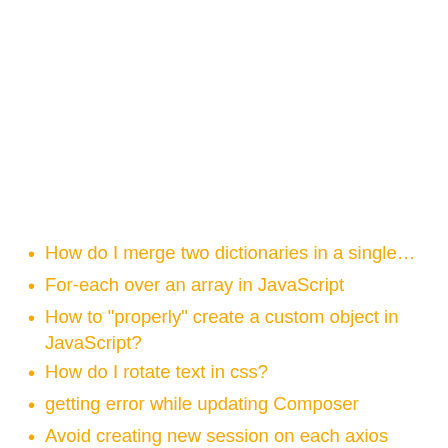How do I merge two dictionaries in a single…
For-each over an array in JavaScript
How to "properly" create a custom object in JavaScript?
How do I rotate text in css?
getting error while updating Composer
Avoid creating new session on each axios request laravel
How to find out client ID of component for ajax